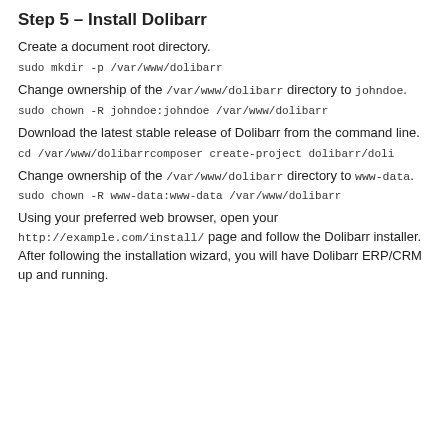Step 5 – Install Dolibarr
Create a document root directory.
sudo mkdir -p /var/www/dolibarr
Change ownership of the /var/www/dolibarr directory to johndoe.
sudo chown -R johndoe:johndoe /var/www/dolibarr
Download the latest stable release of Dolibarr from the command line.
cd /var/www/dolibarrcomposer create-project dolibarr/doli
Change ownership of the /var/www/dolibarr directory to www-data.
sudo chown -R www-data:www-data /var/www/dolibarr
Using your preferred web browser, open your http://example.com/install/ page and follow the Dolibarr installer. After following the installation wizard, you will have Dolibarr ERP/CRM up and running.